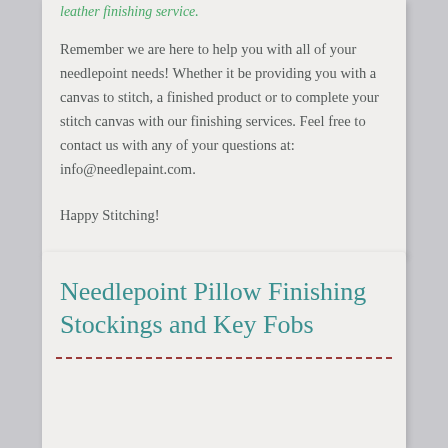leather finishing service.
Remember we are here to help you with all of your needlepoint needs! Whether it be providing you with a canvas to stitch, a finished product or to complete your stitch canvas with our finishing services. Feel free to contact us with any of your questions at: info@needlepaint.com.
Happy Stitching!
Needlepoint Pillow Finishing Stockings and Key Fobs